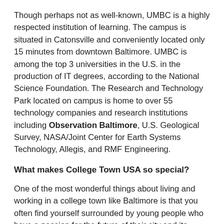Though perhaps not as well-known, UMBC is a highly respected institution of learning. The campus is situated in Catonsville and conveniently located only 15 minutes from downtown Baltimore. UMBC is among the top 3 universities in the U.S. in the production of IT degrees, according to the National Science Foundation. The Research and Technology Park located on campus is home to over 55 technology companies and research institutions including Observation Baltimore, U.S. Geological Survey, NASA/Joint Center for Earth Systems Technology, Allegis, and RMF Engineering.
What makes College Town USA so special?
One of the most wonderful things about living and working in a college town like Baltimore is that you often find yourself surrounded by young people who have a passion for the future of their city and its community members. These are the doctors, lawyers, artists, and